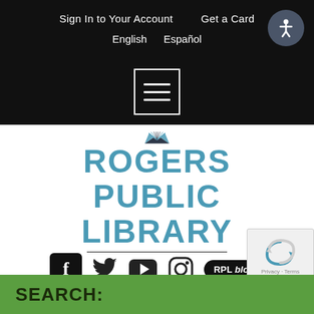Sign In to Your Account   Get a Card   English   Español
[Figure (logo): Hamburger menu icon — three white horizontal lines in a white-bordered square on black background]
[Figure (logo): Rogers Public Library logo — open book with radiating pages above dark mountain silhouettes, with text ROGERS PUBLIC LIBRARY in teal/blue]
[Figure (infographic): Social media icons row: Facebook (f), Twitter (bird), YouTube (play triangle), Instagram (camera), RPL blog button]
SEARCH: